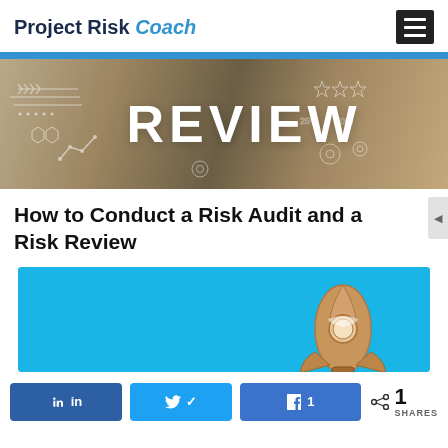Project Risk Coach
[Figure (photo): Hero banner image with REVIEW text over a digital interface background with a person's hands and technology icons]
How to Conduct a Risk Audit and a Risk Review
[Figure (illustration): Cyan/blue background image with a cardboard rocket ship illustration]
in  [LinkedIn share button]  [Twitter share button]  1 [Facebook share button]  < 1 SHARES